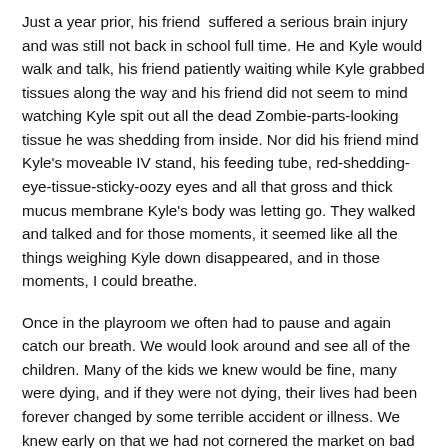Just a year prior, his friend suffered a serious brain injury and was still not back in school full time. He and Kyle would walk and talk, his friend patiently waiting while Kyle grabbed tissues along the way and his friend did not seem to mind watching Kyle spit out all the dead Zombie-parts-looking tissue he was shedding from inside. Nor did his friend mind Kyle's moveable IV stand, his feeding tube, red-shedding-eye-tissue-sticky-oozy eyes and all that gross and thick mucus membrane Kyle's body was letting go. They walked and talked and for those moments, it seemed like all the things weighing Kyle down disappeared, and in those moments, I could breathe.
Once in the playroom we often had to pause and again catch our breath. We would look around and see all of the children. Many of the kids we knew would be fine, many were dying, and if they were not dying, their lives had been forever changed by some terrible accident or illness. We knew early on that we had not cornered the market on bad things that happen to